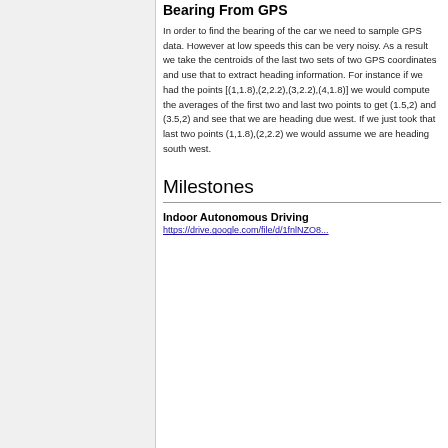Bearing From GPS
In order to find the bearing of the car we need to sample GPS data. However at low speeds this can be very noisy. As a result we take the centroids of the last two sets of two GPS coordinates and use that to extract heading information. For instance if we had the points [(1,1.8),(2,2.2),(3,2.2),(4,1.8)] we would compute the averages of the first two and last two points to get (1.5,2) and (3.5,2) and see that we are heading due west. If we just took that last two points (1,1.8),(2,2.2) we would assume we are heading south west.
Milestones
Indoor Autonomous Driving
https://drive.google.com/file/d/1fnlNZO8...